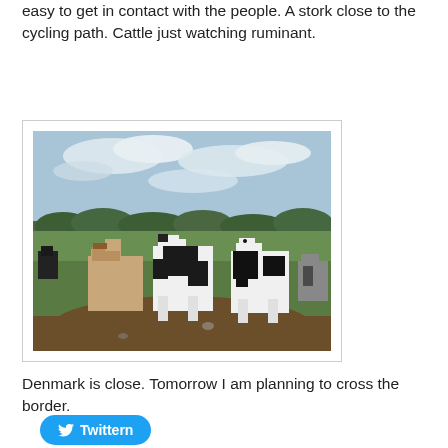easy to get in contact with the people. A stork close to the cycling path. Cattle just watching ruminant.
[Figure (photo): Several cattle (black-and-white and brown-and-white cows) standing in a green field with trees in the background and a cloudy sky above.]
Denmark is close. Tomorrow I am planning to cross the border.
Twittern (Twitter share button)